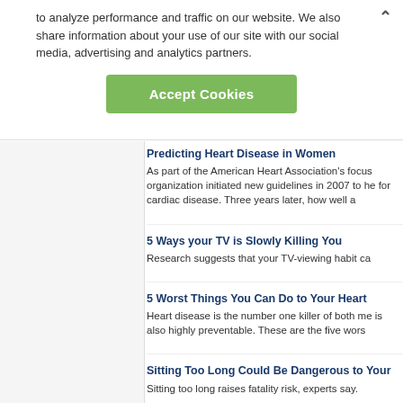to analyze performance and traffic on our website. We also share information about your use of our site with our social media, advertising and analytics partners.
Accept Cookies
Predicting Heart Disease in Women
As part of the American Heart Association's focus organization initiated new guidelines in 2007 to he for cardiac disease. Three years later, how well a
5 Ways your TV is Slowly Killing You
Research suggests that your TV-viewing habit ca
5 Worst Things You Can Do to Your Heart
Heart disease is the number one killer of both me is also highly preventable. These are the five wors
Sitting Too Long Could Be Dangerous to Your
Sitting too long raises fatality risk, experts say.
Body Fat and Disease Prevention
Having fat on the lower portion of your body, such may protect against diabetes and heart disease, a
Pediatric Stroke: What You Should Know
When you think of strokes, you probably think it o